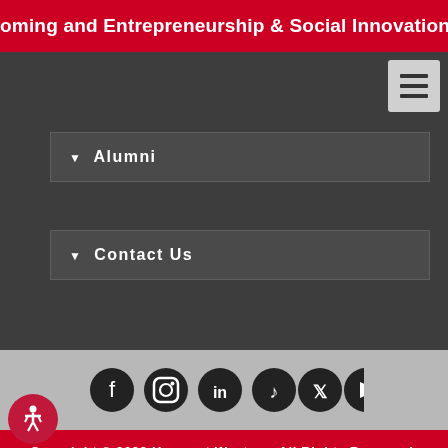oming and Entrepreneurship & Social Innovation Summit from Sep
Alumni
Contact Us
[Figure (other): Social media icons row: Facebook, Instagram, LinkedIn, TikTok, Twitter/X, YouTube]
Copyright © 2022 Huron at Western. All Rights Reserved. Website Terms | eCommerce Terms | Accessibility | Privacy Policy
Huron At Western
1349 Western Road, London, Ontario, Canada,
N6G 1H3    Tel: (519) 438-7224